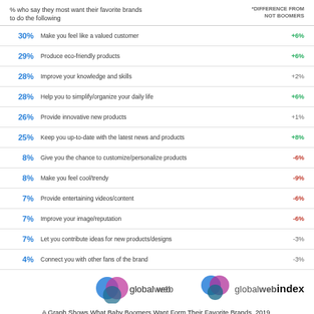% who say they most want their favorite brands to do the following | *DIFFERENCE FROM NOT BOOMERS
30% Make you feel like a valued customer +6%
29% Produce eco-friendly products +6%
28% Improve your knowledge and skills +2%
28% Help you to simplify/organize your daily life +6%
26% Provide innovative new products +1%
25% Keep you up-to-date with the latest news and products +8%
8% Give you the chance to customize/personalize products -6%
8% Make you feel cool/trendy -9%
7% Provide entertaining videos/content -6%
7% Improve your image/reputation -6%
7% Let you contribute ideas for new products/designs -3%
4% Connect you with other fans of the brand -3%
[Figure (logo): GlobalWebIndex logo with overlapping blue and pink circles]
A Graph Shows What Baby Boomers Want Form Their Favorite Brands, 2019.